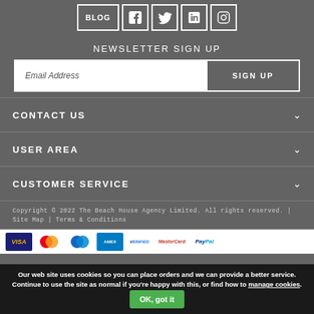[Figure (other): Social media icon bar with BLOG, Facebook, Twitter, LinkedIn, and Instagram icons in white outlined boxes on grey background]
NEWSLETTER SIGN UP
Email Address | SIGN UP
CONTACT US
USER AREA
CUSTOMER SERVICE
Copyright © 2022 The Beach House Agency Limited. All rights reserved. | Site Map | Terms & Conditions
[Figure (other): Payment method logos: VISA, MasterCard, Amex, Verified by Visa, MasterCard SecureCode, PayPal]
Our web site uses cookies so you can place orders and we can provide a better service. Continue to use the site as normal if you're happy with this, or find how to manage cookies. OK, got it